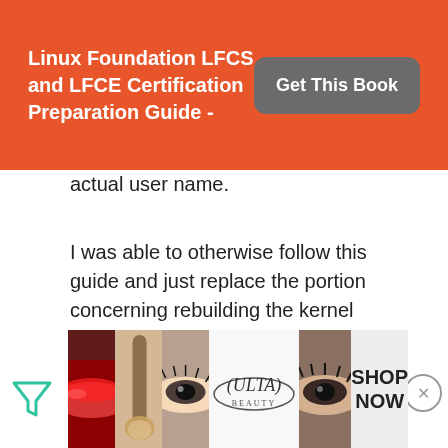Linux Foundation LFCS and LFCE Certification Preparation Guide - Get This Book
actual user name.
I was able to otherwise follow this guide and just replace the portion concerning rebuilding the kernel modules with what I supplied above.
Source: http://www.if-not-true-then-false.com/2010/install-virtualbox-
[Figure (photo): Bottom advertisement banner for ULTA beauty products showing cosmetics images and SHOP NOW text]